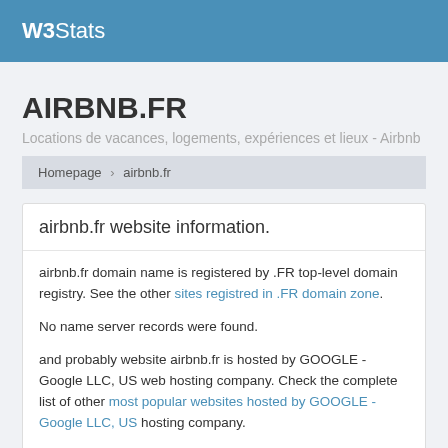W3Stats
AIRBNB.FR
Locations de vacances, logements, expériences et lieux - Airbnb
Homepage > airbnb.fr
airbnb.fr website information.
airbnb.fr domain name is registered by .FR top-level domain registry. See the other sites registred in .FR domain zone.
No name server records were found.
and probably website airbnb.fr is hosted by GOOGLE - Google LLC, US web hosting company. Check the complete list of other most popular websites hosted by GOOGLE - Google LLC, US hosting company.
According to Alexa traffic rank the highest website airbnb.fr position was 928 (in the world). The lowest Alexa rank position was